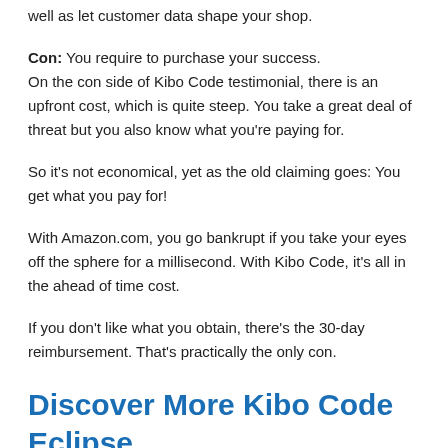well as let customer data shape your shop.
Con: You require to purchase your success. On the con side of Kibo Code testimonial, there is an upfront cost, which is quite steep. You take a great deal of threat but you also know what you're paying for.
So it's not economical, yet as the old claiming goes: You get what you pay for!
With Amazon.com, you go bankrupt if you take your eyes off the sphere for a millisecond. With Kibo Code, it's all in the ahead of time cost.
If you don't like what you obtain, there's the 30-day reimbursement. That's practically the only con.
Discover More Kibo Code Eclipse Discounted Price Through The